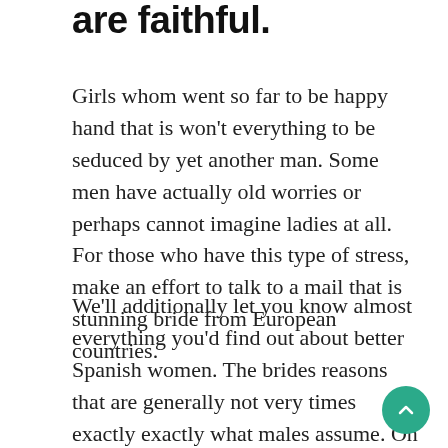are faithful.
Girls whom went so far to be happy hand that is won't everything to be seduced by yet another man. Some men have actually old worries or perhaps cannot imagine ladies at all. For those who have this type of stress, make an effort to talk to a mail that is stunning bride from European countries.
We'll additionally let you know almost everything you'd find out about better Spanish women. The brides reasons that are generally not very times exactly exactly what males assume. On relationship internet web internet sites, there are lots of solitary feamales in search of love something or… more material? Well,